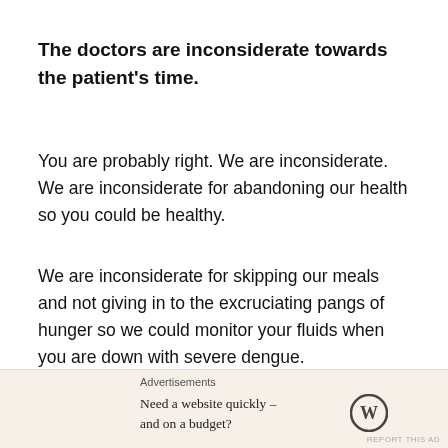The doctors are inconsiderate towards the patient's time.
You are probably right. We are inconsiderate. We are inconsiderate for abandoning our health so you could be healthy.
We are inconsiderate for skipping our meals and not giving in to the excruciating pangs of hunger so we could monitor your fluids when you are down with severe dengue.
We are inconsiderate for not returning home to have dinner with our family and loved ones because we
Advertisements
Need a website quickly – and on a budget?